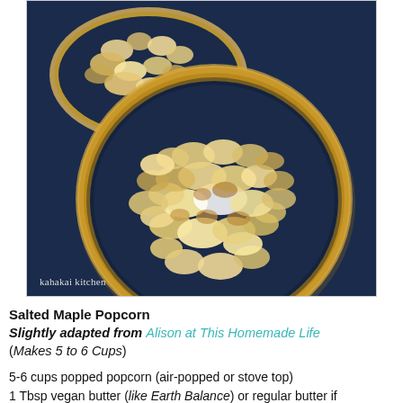[Figure (photo): Overhead photo of two wooden bowls filled with salted maple popcorn on a dark navy blue background. The foreground bowl is larger and centered, showing golden-caramel coated popcorn. A partial second bowl is visible in the upper left. Text watermark 'kahakai kitchen' in lower left corner.]
Salted Maple Popcorn
Slightly adapted from Alison at This Homemade Life
(Makes 5 to 6 Cups)
5-6 cups popped popcorn (air-popped or stove top)
1 Tbsp vegan butter (like Earth Balance) or regular butter if